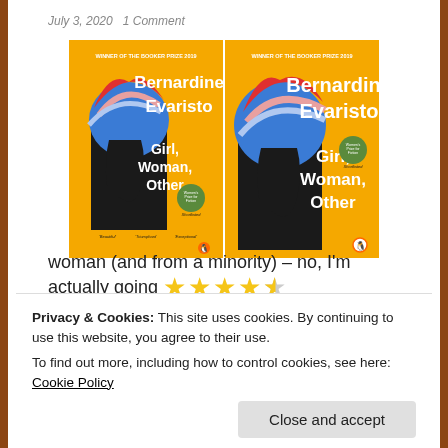July 3, 2020  1 Comment
[Figure (photo): Two editions of the book 'Girl, Woman, Other' by Bernardine Evaristo - Winner of the Booker Prize 2019, showing yellow covers with a silhouette of a woman in a colorful headwrap]
★★★★☆ (4.5 stars rating)
Not a proper review, just a short note to say … Heaven
Privacy & Cookies: This site uses cookies. By continuing to use this website, you agree to their use.
To find out more, including how to control cookies, see here: Cookie Policy
Close and accept
woman (and from a minority) – no, I'm actually going